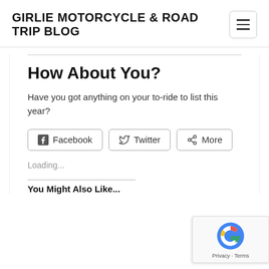GIRLIE MOTORCYCLE & ROAD TRIP BLOG
How About You?
Have you got anything on your to-ride to list this year?
Facebook  Twitter  More
Loading...
You Might Also Like...